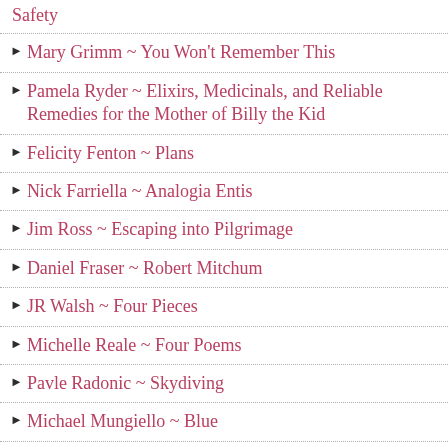Safety
Mary Grimm ~ You Won't Remember This
Pamela Ryder ~ Elixirs, Medicinals, and Reliable Remedies for the Mother of Billy the Kid
Felicity Fenton ~ Plans
Nick Farriella ~ Analogia Entis
Jim Ross ~ Escaping into Pilgrimage
Daniel Fraser ~ Robert Mitchum
JR Walsh ~ Four Pieces
Michelle Reale ~ Four Poems
Pavle Radonic ~ Skydiving
Michael Mungiello ~ Blue
Tara Isabel Zambrano ~ Galaxy X